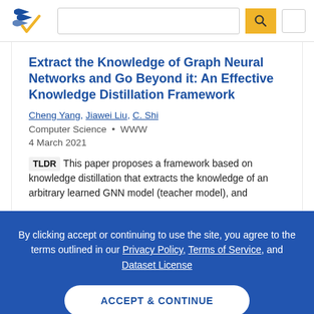Semantic Scholar — header with logo, search bar, and navigation
Extract the Knowledge of Graph Neural Networks and Go Beyond it: An Effective Knowledge Distillation Framework
Cheng Yang, Jiawei Liu, C. Shi
Computer Science • WWW
4 March 2021
TLDR This paper proposes a framework based on knowledge distillation that extracts the knowledge of an arbitrary learned GNN model (teacher model), and
By clicking accept or continuing to use the site, you agree to the terms outlined in our Privacy Policy, Terms of Service, and Dataset License
ACCEPT & CONTINUE